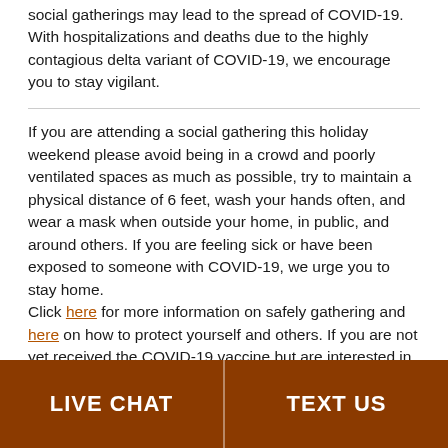social gatherings may lead to the spread of COVID-19. With hospitalizations and deaths due to the highly contagious delta variant of COVID-19, we encourage you to stay vigilant.
If you are attending a social gathering this holiday weekend please avoid being in a crowd and poorly ventilated spaces as much as possible, try to maintain a physical distance of 6 feet, wash your hands often, and wear a mask when outside your home, in public, and around others. If you are feeling sick or have been exposed to someone with COVID-19, we urge you to stay home. Click here for more information on safely gathering and here on how to protect yourself and others. If you are not yet received the COVID-19 vaccine but are interested in learning more, click here.
LIVE CHAT | TEXT US